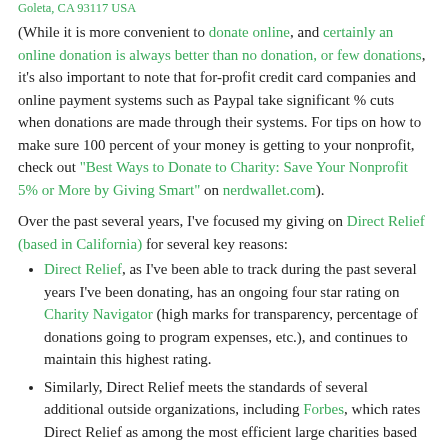Goleta, CA 93117 USA
(While it is more convenient to donate online, and certainly an online donation is always better than no donation, or few donations, it's also important to note that for-profit credit card companies and online payment systems such as Paypal take significant % cuts when donations are made through their systems. For tips on how to make sure 100 percent of your money is getting to your nonprofit, check out "Best Ways to Donate to Charity: Save Your Nonprofit 5% or More by Giving Smart" on nerdwallet.com).
Over the past several years, I've focused my giving on Direct Relief (based in California) for several key reasons:
Direct Relief, as I've been able to track during the past several years I've been donating, has an ongoing four star rating on Charity Navigator (high marks for transparency, percentage of donations going to program expenses, etc.), and continues to maintain this highest rating.
Similarly, Direct Relief meets the standards of several additional outside organizations, including Forbes, which rates Direct Relief as among the most efficient large charities based